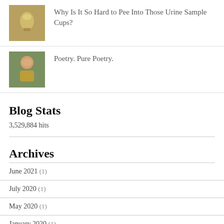Why Is It So Hard to Pee Into Those Urine Sample Cups?
Poetry. Pure Poetry.
Blog Stats
3,529,884 hits
Archives
June 2021 (1)
July 2020 (1)
May 2020 (1)
January 2020 (1)